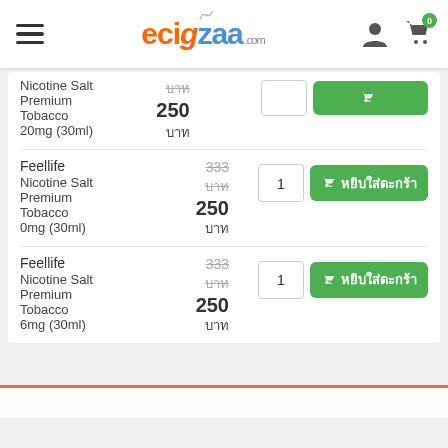[Figure (logo): ecigzaa.com logo with hamburger menu, user icon, and cart icon with badge 0]
Nicotine Salt บาท Premium 250 Tobacco บาท 20mg (30ml)
Feellife Nicotine Salt 333 บาท Premium 250 Tobacco บาท 0mg (30ml)
Feellife Nicotine Salt 333 บาท Premium 250 Tobacco บาท 6mg (30ml)